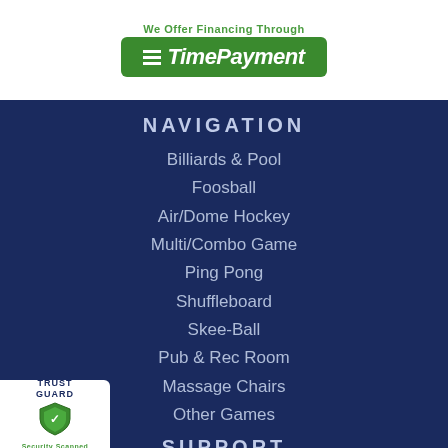[Figure (logo): TimePayment financing badge with green logo box and 'We Offer Financing Through TimePayment' text]
NAVIGATION
Billiards & Pool
Foosball
Air/Dome Hockey
Multi/Combo Game
Ping Pong
Shuffleboard
Skee-Ball
Pub & Rec Room
Massage Chairs
Other Games
SUPPORT
About Us
FAQ
[Figure (logo): TrustGuard Security Scanned badge with shield icon]